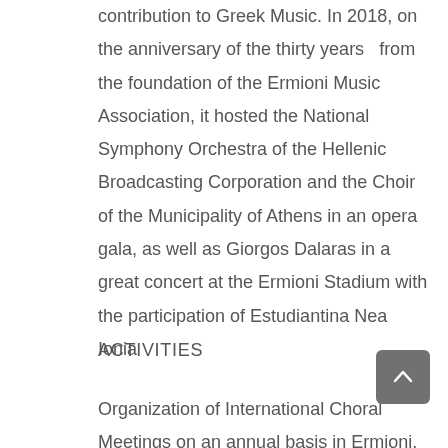contribution to Greek Music. In 2018, on the anniversary of the thirty years  from the foundation of the Ermioni Music Association, it hosted the National Symphony Orchestra of the Hellenic Broadcasting Corporation and the Choir of the Municipality of Athens in an opera gala, as well as Giorgos Dalaras in a great concert at the Ermioni Stadium with the participation of Estudiantina Nea Ionia
ACTIVITIES
Organization of International Choral Meetings on an annual basis in Ermioni, since 1992. Organization of